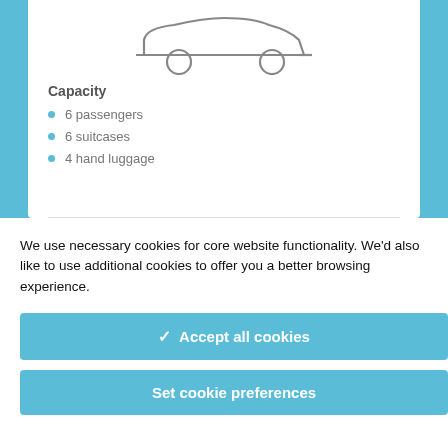[Figure (illustration): Line drawing of a car/minivan silhouette with two wheels visible, shown in outline style]
Capacity
6 passengers
6 suitcases
4 hand luggage
We use necessary cookies for core website functionality. We'd also like to use additional cookies to offer you a better browsing experience.
✓ Accept all cookies
Set cookie preferences